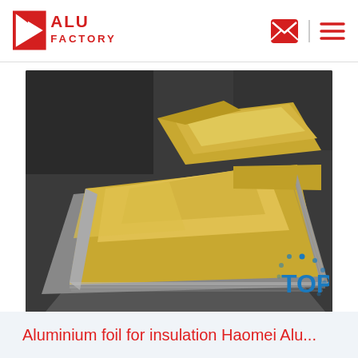ALU FACTORY
[Figure (photo): Stacked sheets of shiny gold/yellow aluminium foil for insulation, piled on a dark surface in an industrial setting.]
Aluminium foil for insulation Haomei Alu...